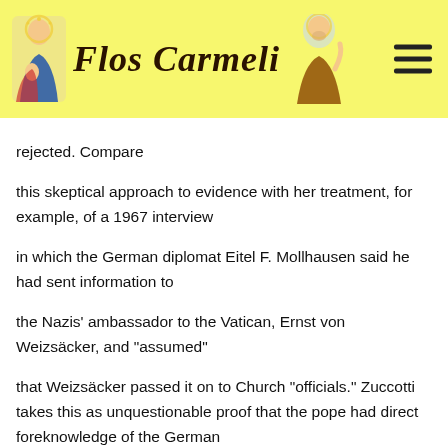Flos Carmeli
rejected. Compare this skeptical approach to evidence with her treatment, for example, of a 1967 interview in which the German diplomat Eitel F. Mollhausen said he had sent information to the Nazis' ambassador to the Vatican, Ernst von Weizsäcker, and "assumed" that Weizsäcker passed it on to Church "officials." Zuccotti takes this as unquestionable proof that the pope had direct foreknowledge of the German roundup. (A fair reading suggests Pius had heard rumors and raised them with the Nazi occupiers. Princess Enza Pignatelli Aragona reported that when she broke in on the pope with the news of the roundup early on the morning of October 16, 1943